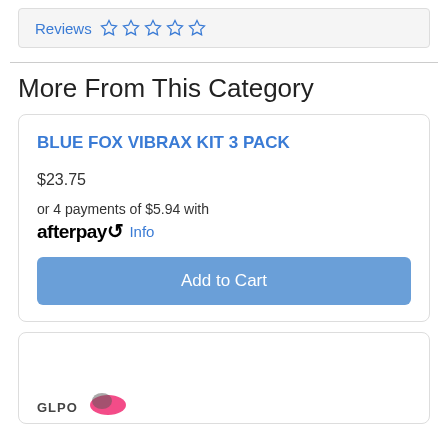Reviews ☆ ☆ ☆ ☆ ☆
More From This Category
BLUE FOX VIBRAX KIT 3 PACK
$23.75
or 4 payments of $5.94 with afterpay Info
Add to Cart
GLPO